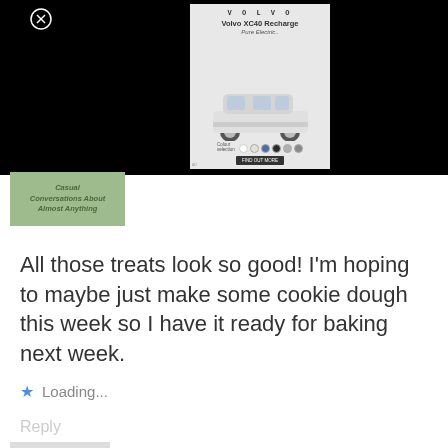[Figure (screenshot): Volvo XC40 Recharge Pure Electric advertisement showing a white SUV with color selection dots and a CTA button, displayed over a black background with a close (X) button]
[Figure (logo): Green blog banner reading 'Casual Conversations About Almost Anything']
All those treats look so good! I'm hoping to maybe just make some cookie dough this week so I have it ready for baking next week.
Loading...
Reply